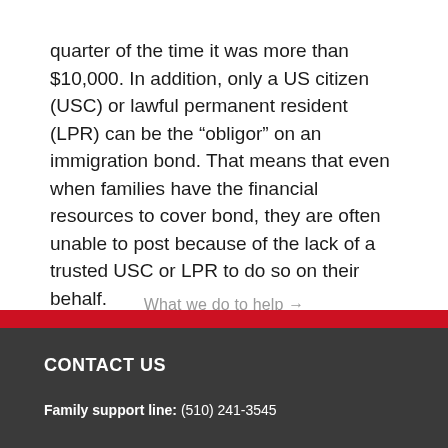quarter of the time it was more than $10,000. In addition, only a US citizen (USC) or lawful permanent resident (LPR) can be the “obligor” on an immigration bond. That means that even when families have the financial resources to cover bond, they are often unable to post because of the lack of a trusted USC or LPR to do so on their behalf.
What we do to help →
CONTACT US
Family support line: (510) 241-3545